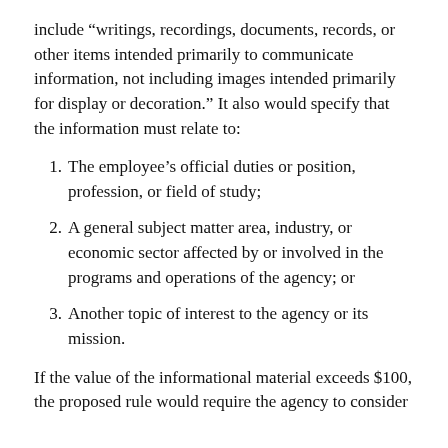include “writings, recordings, documents, records, or other items intended primarily to communicate information, not including images intended primarily for display or decoration.” It also would specify that the information must relate to:
The employee’s official duties or position, profession, or field of study;
A general subject matter area, industry, or economic sector affected by or involved in the programs and operations of the agency; or
Another topic of interest to the agency or its mission.
If the value of the informational material exceeds $100, the proposed rule would require the agency to consider